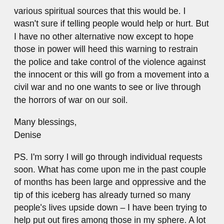various spiritual sources that this would be. I wasn't sure if telling people would help or hurt. But I have no other alternative now except to hope those in power will heed this warning to restrain the police and take control of the violence against the innocent or this will go from a movement into a civil war and no one wants to see or live through the horrors of war on our soil.
Many blessings,
Denise
PS. I'm sorry I will go through individual requests soon. What has come upon me in the past couple of months has been large and oppressive and the tip of this iceberg has already turned so many people's lives upside down – I have been trying to help put out fires among those in my sphere. A lot of people are depressed now which is why I was afraid to post this information but again the positive thing to take from all of this is the people will ultimately win as they have in the past. And the changes in the earth will eventually calm.
Further acknowledgment to standing...